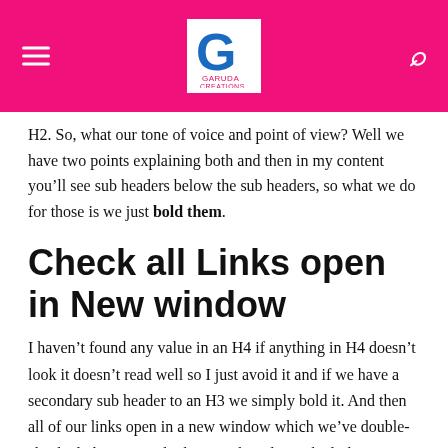Garuda Creations logo with hamburger menu and search icon
H2. So, what our tone of voice and point of view? Well we have two points explaining both and then in my content you’ll see sub headers below the sub headers, so what we do for those is we just bold them.
Check all Links open in New window
I haven’t found any value in an H4 if anything in H4 doesn’t look it doesn’t read well so I just avoid it and if we have a secondary sub header to an H3 we simply bold it. And then all of our links open in a new window which we’ve double-checked, the way to do that is to hit edit on the link go to link options and then make sure that little box is clicked.